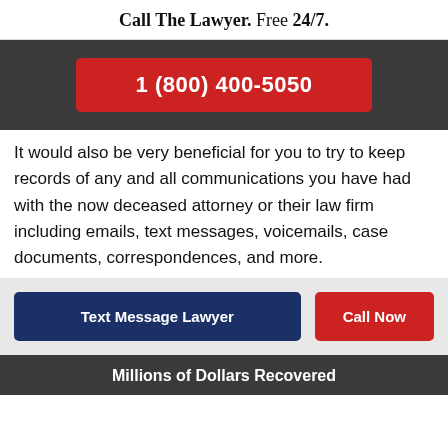Call The Lawyer. Free 24/7.
1 (800) 400-5050
It would also be very beneficial for you to try to keep records of any and all communications you have had with the now deceased attorney or their law firm including emails, text messages, voicemails, case documents, correspondences, and more.
Text Message Lawyer
Call Now
Millions of Dollars Recovered